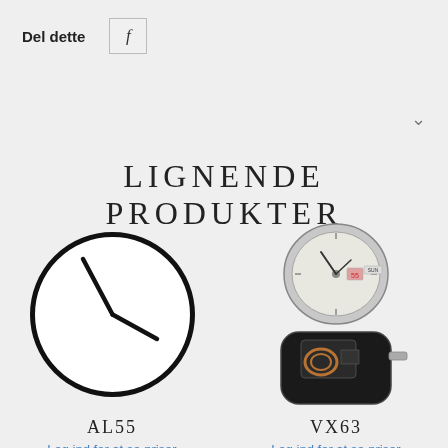Del dette
[Figure (logo): Facebook share button with letter f]
∨
LIGNENDE PRODUKTER
[Figure (illustration): Minimalist clock face outline with hour and minute hands showing approximately 10:10, black circle on light background]
AL55
Log ind for at se priser
[Figure (photo): Watch movement mechanism - two photos: top shows a round white/silver quartz watch movement dial with date display, bottom shows a dark octagonal quartz watch movement (back side) with copper coil visible]
VX63
Log ind for at se priser